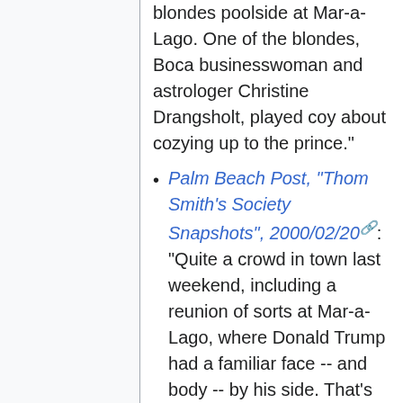blondes poolside at Mar-a-Lago. One of the blondes, Boca businesswoman and astrologer Christine Drangsholt, played coy about cozying up to the prince."
Palm Beach Post, "Thom Smith's Society Snapshots", 2000/02/20: "Quite a crowd in town last weekend, including a reunion of sorts at Mar-a-Lago, where Donald Trump had a familiar face -- and body -- by his side. That's right, girlfriend Melania Knauss, who took a temporary back seat to politics, was back for The Donald's pro-am tennis tournament. Financier